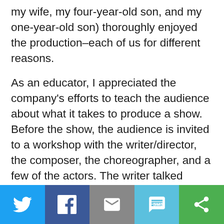my wife, my four-year-old son, and my one-year-old son) thoroughly enjoyed the production–each of us for different reasons.
As an educator, I appreciated the company's efforts to teach the audience about what it takes to produce a show. Before the show, the audience is invited to a workshop with the writer/director, the composer, the choreographer, and a few of the actors. The writer talked about turning a book into a script. The composer talked about different musical instruments and the choices he made to create a mood for each scene– tingling keys for a cold winter day or a timpani for the return of the giant. The choreographer also talked about the choices
[Figure (infographic): Social sharing bar with five buttons: Twitter (blue bird icon), Facebook (dark blue f icon), Email (grey envelope icon), SMS (light blue SMS bubble icon), ShareThis (green circular arrows icon)]